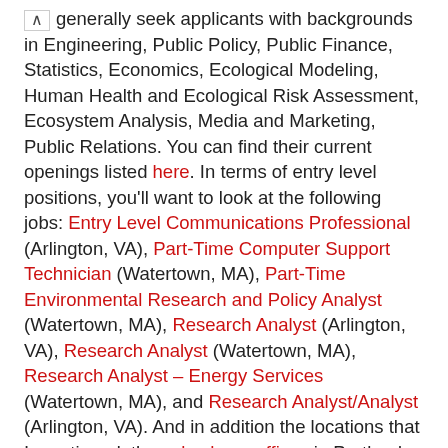generally seek applicants with backgrounds in Engineering, Public Policy, Public Finance, Statistics, Economics, Ecological Modeling, Human Health and Ecological Risk Assessment, Ecosystem Analysis, Media and Marketing, Public Relations. You can find their current openings listed here. In terms of entry level positions, you'll want to look at the following jobs: Entry Level Communications Professional (Arlington, VA), Part-Time Computer Support Technician (Watertown, MA), Part-Time Environmental Research and Policy Analyst (Watertown, MA), Research Analyst (Arlington, VA), Research Analyst (Watertown, MA), Research Analyst – Energy Services (Watertown, MA), and Research Analyst/Analyst (Arlington, VA). And in addition the locations that I mentioned, they also have offices in Portland, OR; Boulder, CO; Salt Lake City, UT; Los Angeles, CA; Helena, MT; and Madison, WI.
Links to Help You Begin Your Research